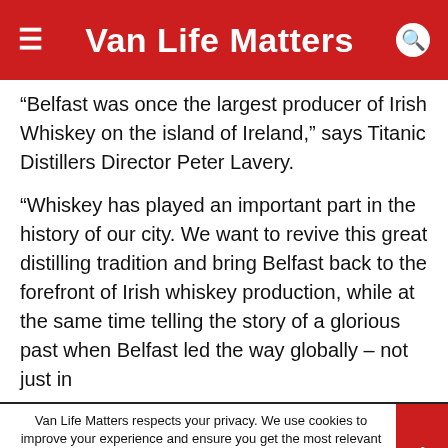Van Life Matters
“Belfast was once the largest producer of Irish Whiskey on the island of Ireland,” says Titanic Distillers Director Peter Lavery.
“Whiskey has played an important part in the history of our city. We want to revive this great distilling tradition and bring Belfast back to the forefront of Irish whiskey production, while at the same time telling the story of a glorious past when Belfast led the way globally – not just in
Van Life Matters respects your privacy. We use cookies to improve your experience and ensure you get the most relevant content. We assume you’re ok with this, but you can opt-out if you wish.